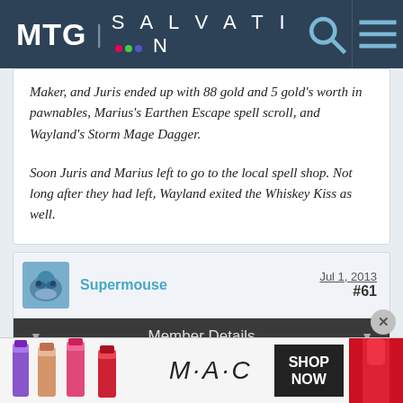MTG SALVATION
Maker, and Juris ended up with 88 gold and 5 gold's worth in pawnables, Marius's Earthen Escape spell scroll, and Wayland's Storm Mage Dagger.

Soon Juris and Marius left to go to the local spell shop. Not long after they had left, Wayland exited the Whiskey Kiss as well.
Supermouse   Jul 1, 2013   #61
Member Details
Colt settled himself in on his latest plan of action, which w... h...